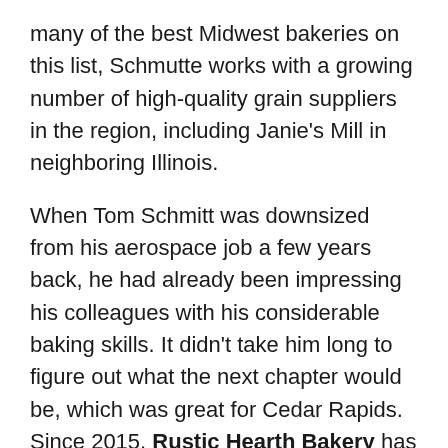many of the best Midwest bakeries on this list, Schmutte works with a growing number of high-quality grain suppliers in the region, including Janie's Mill in neighboring Illinois.
When Tom Schmitt was downsized from his aerospace job a few years back, he had already been impressing his colleagues with his considerable baking skills. It didn't take him long to figure out what the next chapter would be, which was great for Cedar Rapids. Since 2015, Rustic Hearth Bakery has been supplying the city with crusty, naturally-leavened loaves, not to mention some very fine baguettes; Schmitt mills his own flour, right on premises. Things started relatively small in the local public market, but the bakery soon had to relocate—these days, you've got to make the drive out toward the edge of town to pick up your bread, which is a small price to pay for greatness.